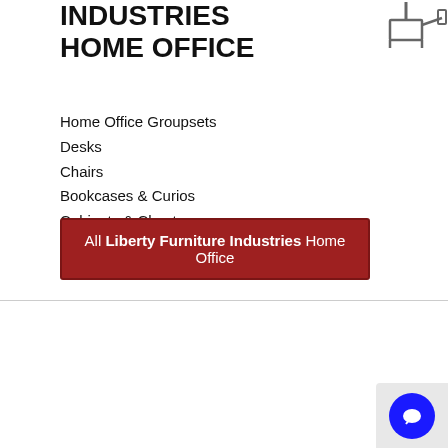INDUSTRIES HOME OFFICE
[Figure (illustration): Desk icon - grey desk silhouette with monitor]
Home Office Groupsets
Desks
Chairs
Bookcases & Curios
Cabinets & Chests
Hutches
All Liberty Furniture Industries Home Office
LIBERTY FURNITURE INDUSTRIES BATHROOM FURNITURE
[Figure (illustration): Cabinet/bathroom furniture icon - grey tall cabinet silhouette]